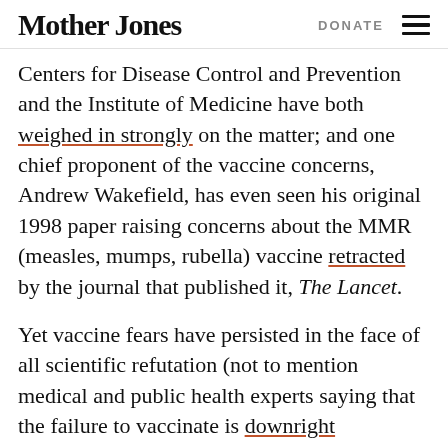Mother Jones | DONATE
Centers for Disease Control and Prevention and the Institute of Medicine have both weighed in strongly on the matter; and one chief proponent of the vaccine concerns, Andrew Wakefield, has even seen his original 1998 paper raising concerns about the MMR (measles, mumps, rubella) vaccine retracted by the journal that published it, The Lancet.
Yet vaccine fears have persisted in the face of all scientific refutation (not to mention medical and public health experts saying that the failure to vaccinate is downright dangerous). And if these beliefs are often conspiratorial, that might help explain why. Almost by definition, conspiracy